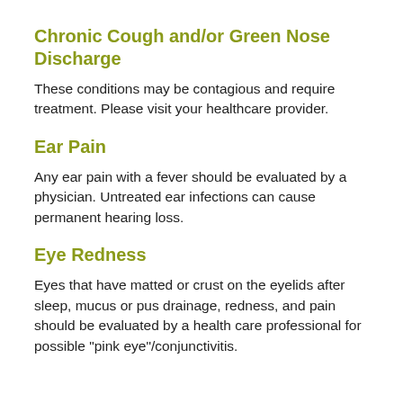Chronic Cough and/or Green Nose Discharge
These conditions may be contagious and require treatment. Please visit your healthcare provider.
Ear Pain
Any ear pain with a fever should be evaluated by a physician. Untreated ear infections can cause permanent hearing loss.
Eye Redness
Eyes that have matted or crust on the eyelids after sleep, mucus or pus drainage, redness, and pain should be evaluated by a health care professional for possible "pink eye"/conjunctivitis.